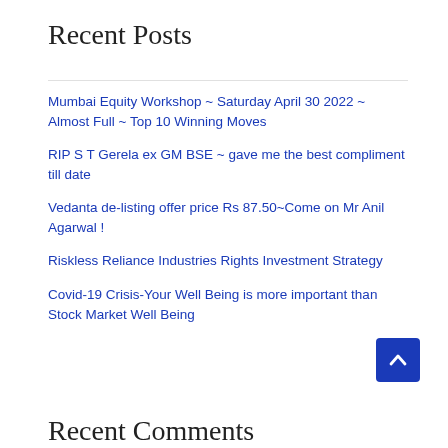Recent Posts
Mumbai Equity Workshop ~ Saturday April 30 2022 ~ Almost Full ~ Top 10 Winning Moves
RIP S T Gerela ex GM BSE ~ gave me the best compliment till date
Vedanta de-listing offer price Rs 87.50~Come on Mr Anil Agarwal !
Riskless Reliance Industries Rights Investment Strategy
Covid-19 Crisis-Your Well Being is more important than Stock Market Well Being
Recent Comments